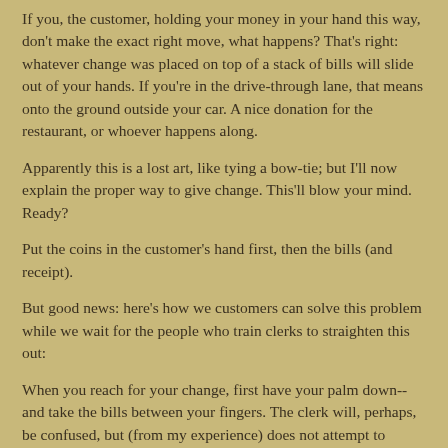If you, the customer, holding your money in your hand this way, don't make the exact right move, what happens? That's right: whatever change was placed on top of a stack of bills will slide out of your hands. If you're in the drive-through lane, that means onto the ground outside your car. A nice donation for the restaurant, or whoever happens along.
Apparently this is a lost art, like tying a bow-tie; but I'll now explain the proper way to give change. This'll blow your mind. Ready?
Put the coins in the customer's hand first, then the bills (and receipt).
But good news: here's how we customers can solve this problem while we wait for the people who train clerks to straighten this out:
When you reach for your change, first have your palm down--and take the bills between your fingers. The clerk will, perhaps, be confused, but (from my experience) does not attempt to deposit coins on the back of your hand. Then, after taking the bills, turn your hand for coins...